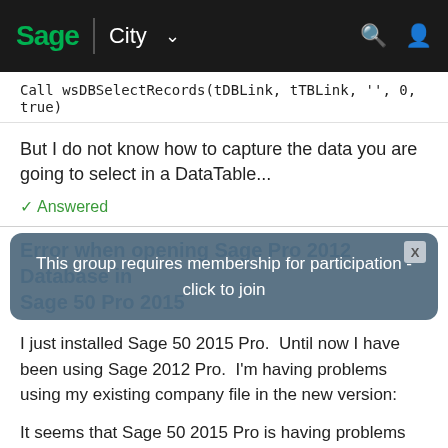Sage City
Call wsDBSelectRecords(tDBLink, tTBLink, '', 0, true)
But I do not know how to capture the data you are going to select in a DataTable...
✓ Answered
Error when opening Sage Pro 2012 Database in Sage 50 Pro 2015
This group requires membership for participation - click to join
I just installed Sage 50 2015 Pro. Until now I have been using Sage 2012 Pro. I'm having problems using my existing company file in the new version:
It seems that Sage 50 2015 Pro is having problems connecting to the 2012 Pro version's company file...
✓ Answered
How do we export invoice transactions to sage